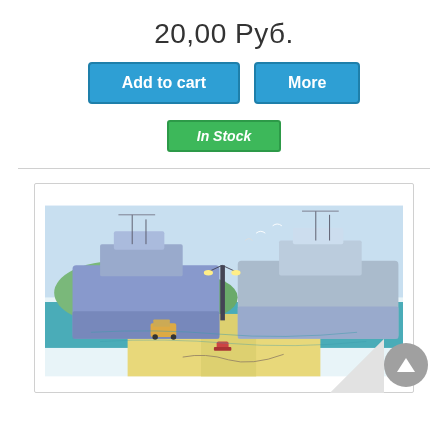20,00 Руб.
Add to cart
More
In Stock
[Figure (illustration): Watercolor illustration of a harbor/port scene with two large ships docked at a pier, a streetlamp in the center, vehicles on the dock, seagulls in the sky, and green hills in the background.]